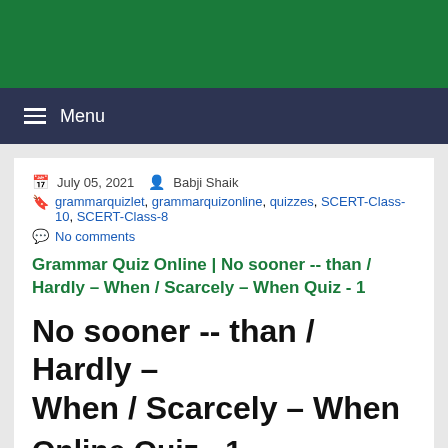Menu
July 05, 2021   Babji Shaik
grammarquizlet, grammarquizonline, quizzes, SCERT-Class-10, SCERT-Class-8
No comments
Grammar Quiz Online | No sooner -- than / Hardly – When / Scarcely – When Quiz - 1
No sooner -- than / Hardly – When / Scarcely – When
Online Quiz - 1
Hi friends and my dear students! In this post, I have